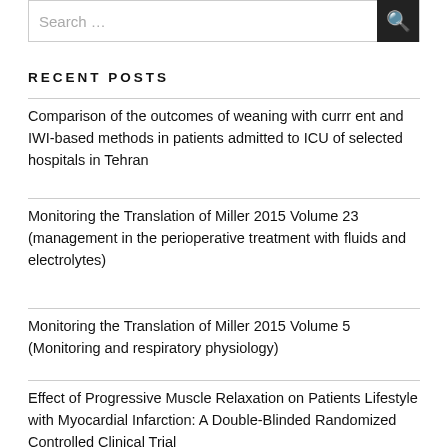RECENT POSTS
Comparison of the outcomes of weaning with currrent and IWI-based methods in patients admitted to ICU of selected hospitals in Tehran
Monitoring the Translation of Miller 2015 Volume 23 (management in the perioperative treatment with fluids and electrolytes)
Monitoring the Translation of Miller 2015 Volume 5 (Monitoring and respiratory physiology)
Effect of Progressive Muscle Relaxation on Patients Lifestyle with Myocardial Infarction: A Double-Blinded Randomized Controlled Clinical Trial